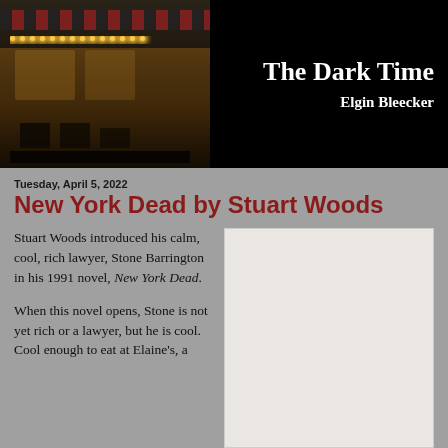[Figure (photo): Banner header showing a nighttime restaurant exterior with warm string lights and awning on the left, and a black background on the right with blog title and author name in white text.]
The Dark Time
Elgin Bleecker
Tuesday, April 5, 2022
New York Dead by Stuart Woods
Stuart Woods introduced his calm, cool, rich lawyer, Stone Barrington in his 1991 novel, New York Dead.
When this novel opens, Stone is not yet rich or a lawyer, but he is cool. Cool enough to eat at Elaine's, a
[Figure (illustration): Book cover placeholder — light gray/white rectangle representing the book cover image for New York Dead.]